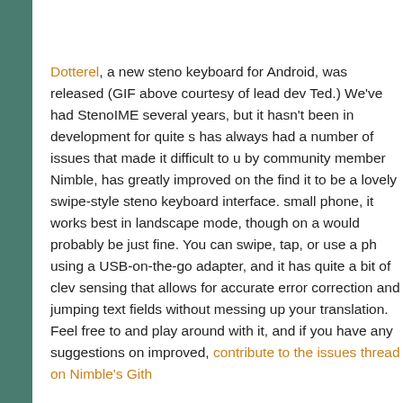Dotterel, a new steno keyboard for Android, was released (GIF above courtesy of lead dev Ted.) We've had StenoIME several years, but it hasn't been in development for quite s has always had a number of issues that made it difficult to u by community member Nimble, has greatly improved on the find it to be a lovely swipe-style steno keyboard interface. small phone, it works best in landscape mode, though on a would probably be just fine. You can swipe, tap, or use a ph using a USB-on-the-go adapter, and it has quite a bit of cle sensing that allows for accurate error correction and jumpin text fields without messing up your translation. Feel free to and play around with it, and if you have any suggestions on improved, contribute to the issues thread on Nimble's Gith
Posted by Mirabai Knight at 8:55 PM   1 comment: